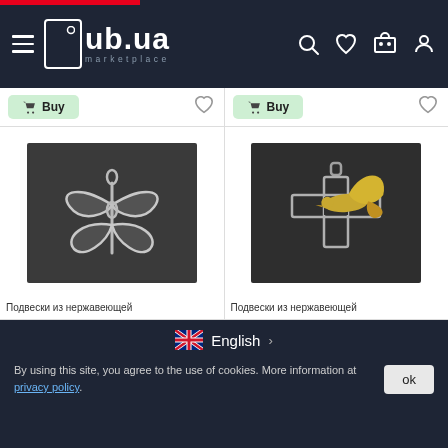ub.ua marketplace
[Figure (screenshot): Buy button with cart icon and heart/wishlist icon, left product cell]
[Figure (screenshot): Buy button with cart icon and heart/wishlist icon, right product cell]
[Figure (photo): Silver dragonfly-shaped pendant on dark background]
[Figure (photo): Cross with dove/bird pendant in silver and gold on dark background]
Подвески из нержавеющей
Подвески из нержавеющей
English
By using this site, you agree to the use of cookies. More information at privacy policy.